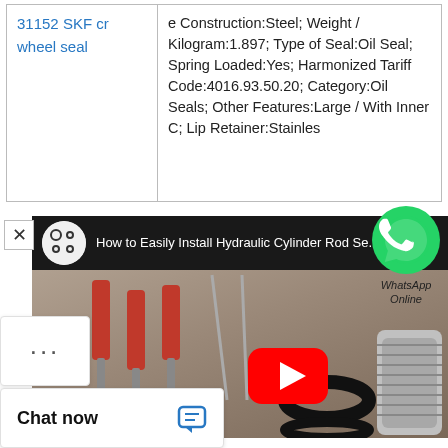| Product | Details |
| --- | --- |
| 31152 SKF cr wheel seal | e Construction:Steel; Weight / Kilogram:1.897; Type of Seal:Oil Seal; Spring Loaded:Yes; Harmonized Tariff Code:4016.93.50.20; Category:Oil Seals; Other Features:Large / With Inner C; Lip Retainer:Stainles |
[Figure (screenshot): WhatsApp icon (green circle with phone handset) with text 'WhatsApp Online' below]
[Figure (screenshot): YouTube video thumbnail showing 'How to Easily Install Hydraulic Cylinder Rod Se...' with screwdrivers, O-rings, and a threaded aluminum part; a red YouTube play button is visible in the center]
[Figure (screenshot): Chat popup at the bottom left with 'Chat now' text and a chat icon, and a '...' more options button above it]